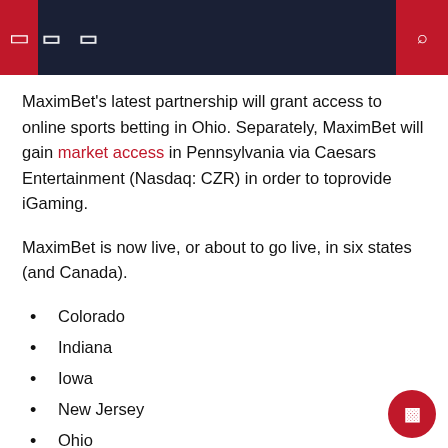Navigation header bar
MaximBet's latest partnership will grant access to online sports betting in Ohio. Separately, MaximBet will gain market access in Pennsylvania via Caesars Entertainment (Nasdaq: CZR) in order to toprovide iGaming.
MaximBet is now live, or about to go live, in six states (and Canada).
Colorado
Indiana
Iowa
New Jersey
Ohio
Pennsylvania
â€œFor each new market that we enter, our only goal is to provide the best customer experience by providing them not